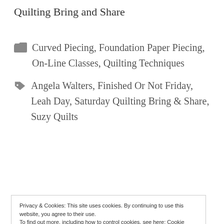Quilting Bring and Share
Curved Piecing, Foundation Paper Piecing, On-Line Classes, Quilting Techniques
Angela Walters, Finished Or Not Friday, Leah Day, Saturday Quilting Bring & Share, Suzy Quilts
Privacy & Cookies: This site uses cookies. By continuing to use this website, you agree to their use.
To find out more, including how to control cookies, see here: Cookie Policy
Making a scrappy start to 2018